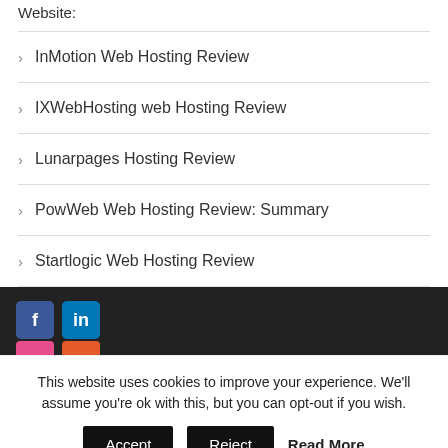Website:
InMotion Web Hosting Review
IXWebHosting web Hosting Review
Lunarpages Hosting Review
PowWeb Web Hosting Review: Summary
Startlogic Web Hosting Review
[Figure (other): Social media share buttons: Facebook (blue), LinkedIn (blue), and two partially visible colored buttons (pink, red-orange)]
This website uses cookies to improve your experience. We'll assume you're ok with this, but you can opt-out if you wish.
Accept  Reject  Read More